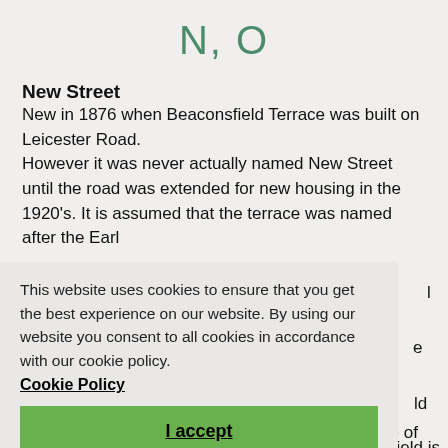N, O
New Street
New in 1876 when Beaconsfield Terrace was built on Leicester Road.
However it was never actually named New Street until the road was extended for new housing in the 1920's. It is assumed that the terrace was named after the Earl
This website uses cookies to ensure that you get the best experience on our website. By using our website you consent to all cookies in accordance with our cookie policy.
Cookie Policy
I accept
field is
ield
and Nether Oldfield (1766) were on the Blaby side of